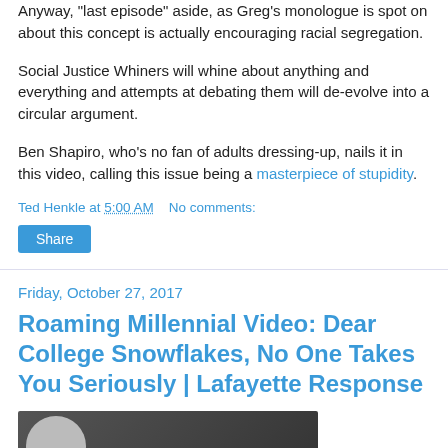Anyway, 'last episode' aside, as Greg's monologue is spot on about this concept is actually encouraging racial segregation.
Social Justice Whiners will whine about anything and everything and attempts at debating them will de-evolve into a circular argument.
Ben Shapiro, who's no fan of adults dressing-up, nails it in this video, calling this issue being a masterpiece of stupidity.
Ted Henkle at 5:00 AM   No comments:
Share
Friday, October 27, 2017
Roaming Millennial Video: Dear College Snowflakes, No One Takes You Seriously | Lafayette Response
[Figure (photo): Thumbnail image of a person, partially visible, dark background]